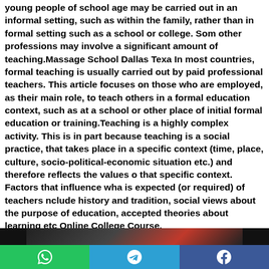young people of school age may be carried out in an informal setting, such as within the family, rather than in formal setting such as a school or college. Som other professions may involve a significant amount of teaching.Massage School Dallas Texa In most countries, formal teaching is usually carried out by paid professional teachers. This article focuses on those who are employed, as their main role, to teach others in a formal education context, such as at a school or other place of initial formal education or training.Teaching is a highly complex activity. This is in part because teaching is a social practice, that takes place in a specific context (time, place, culture, socio-political-economic situation etc.) and therefore reflects the values o that specific context. Factors that influence wha is expected (or required) of teachers nclude history and tradition, social views about the purpose of education, accepted theories about learning etc Online College Course.
[Figure (photo): Partial photo visible at the bottom of the page, appears dark with some color elements]